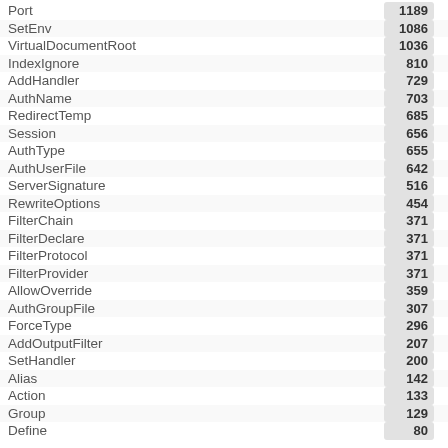| Directive | Count |
| --- | --- |
| Port | 1189 |
| SetEnv | 1086 |
| VirtualDocumentRoot | 1036 |
| IndexIgnore | 810 |
| AddHandler | 729 |
| AuthName | 703 |
| RedirectTemp | 685 |
| Session | 656 |
| AuthType | 655 |
| AuthUserFile | 642 |
| ServerSignature | 516 |
| RewriteOptions | 454 |
| FilterChain | 371 |
| FilterDeclare | 371 |
| FilterProtocol | 371 |
| FilterProvider | 371 |
| AllowOverride | 359 |
| AuthGroupFile | 307 |
| ForceType | 296 |
| AddOutputFilter | 207 |
| SetHandler | 200 |
| Alias | 142 |
| Action | 133 |
| Group | 129 |
| Define | 80 |